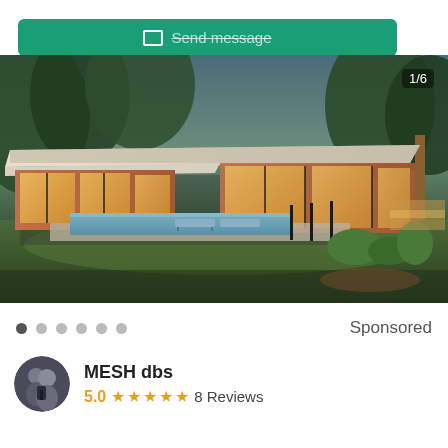[Figure (screenshot): Green Send message button at top of page]
[Figure (photo): Modern mid-century style house with flat roof, wood siding, large glass windows, swimming pool, lounge chairs, surrounded by trees and lawn, photographed at dusk. Counter showing 1/6 in top right.]
Sponsored
[Figure (photo): Avatar photo of two people in professional attire]
MESH dbs
5.0 ★★★★★ 8 Reviews